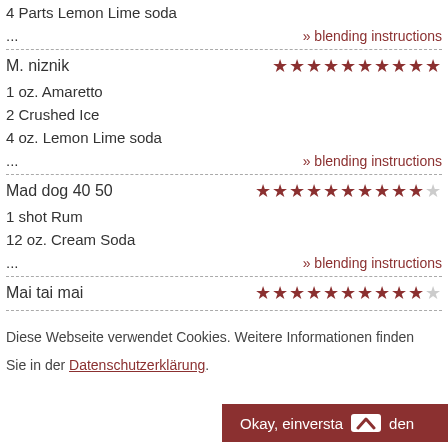4 Parts Lemon Lime soda
... » blending instructions
M. niznik ★★★★★★★★★★
1 oz. Amaretto
2 Crushed Ice
4 oz. Lemon Lime soda
... » blending instructions
Mad dog 40 50 ★★★★★★★★★★☆
1 shot Rum
12 oz. Cream Soda
... » blending instructions
Mai tai mai ★★★★★★★★★★☆
Diese Webseite verwendet Cookies. Weitere Informationen finden Sie in der Datenschutzerklärung.
Okay, einverstanden